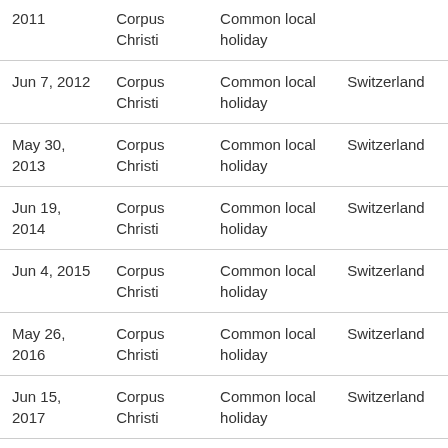| Date | Name | Type | Country |
| --- | --- | --- | --- |
| 2011 | Corpus Christi | Common local holiday |  |
| Jun 7, 2012 | Corpus Christi | Common local holiday | Switzerland |
| May 30, 2013 | Corpus Christi | Common local holiday | Switzerland |
| Jun 19, 2014 | Corpus Christi | Common local holiday | Switzerland |
| Jun 4, 2015 | Corpus Christi | Common local holiday | Switzerland |
| May 26, 2016 | Corpus Christi | Common local holiday | Switzerland |
| Jun 15, 2017 | Corpus Christi | Common local holiday | Switzerland |
| May 31, 2018 | Corpus Christi | Common local holiday | Switzerland |